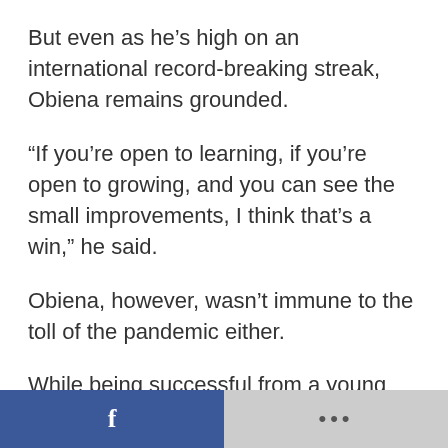But even as he's high on an international record-breaking streak, Obiena remains grounded.
“If you’re open to learning, if you’re open to growing, and you can see the small improvements, I think that’s a win,” he said.
Obiena, however, wasn’t immune to the toll of the pandemic either.
While being successful from a young age, living away from his family and training in isolation is still difficult for him. With some help from his coach, Obiena was soon enough able to get back on track